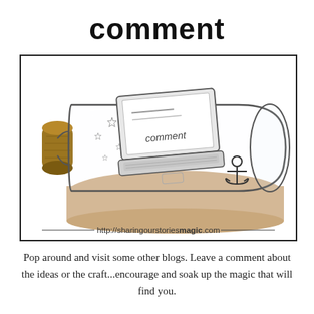comment
[Figure (illustration): A glass bottle lying on its side with a cork stopper. Inside the bottle is a laptop computer with the word 'comment' on its screen, surrounded by sand and floating stars/sparkles. An anchor symbol appears to the right of the laptop. The bottle scene is illustrated/drawn style.]
http://sharingourstoriesmagic.com
Pop around and visit some other blogs. Leave a comment about the ideas or the craft...encourage and soak up the magic that will find you.